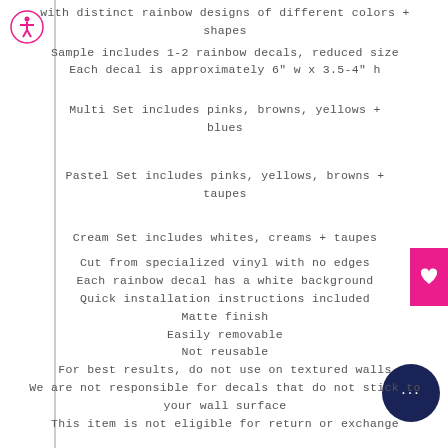with distinct rainbow designs of different colors + shapes
Sample includes 1-2 rainbow decals, reduced size
Each decal is approximately 6" w x 3.5-4" h
Multi Set includes pinks, browns, yellows + blues
Pastel Set includes pinks, yellows, browns + taupes
Cream Set includes whites, creams + taupes
Cut from specialized vinyl with no edges
Each rainbow decal has a white background
Quick installation instructions included
Matte finish
Easily removable
Not reusable
For best results, do not use on textured walls
We are not responsible for decals that do not stick to your wall surface
This item is not eligible for return or exchange